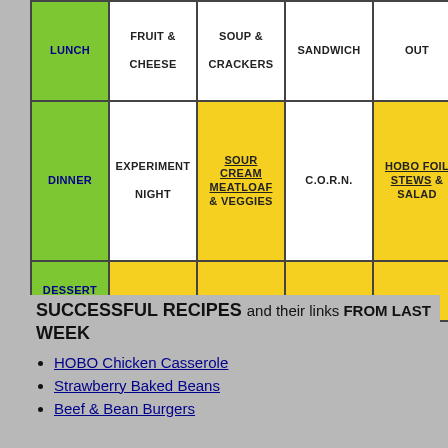|  | MON | TUE | WED | THU | FRI |
| --- | --- | --- | --- | --- | --- |
| LUNCH | FRUIT & CHEESE | SOUP & CRACKERS | SANDWICH | OUT | ME... CH... |
| DINNER | EXPERIMENT NIGHT | SOUR CREAM MEATLOAF & VEGGIES | C.O.R.N. | HOBO FOIL STEWS & SALAD | MA... CHIC... VEG... |
| DESSERT |  |  |  |  |  |
SUCCESSFUL RECIPES and their links FROM LAST WEEK
HOBO Chicken Casserole
Strawberry Baked Beans
Beef & Bean Burgers